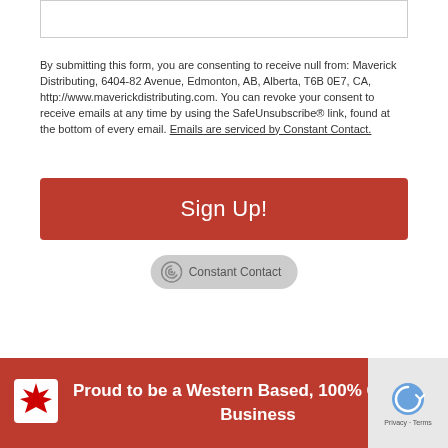[Figure (other): Empty input form field box]
By submitting this form, you are consenting to receive null from: Maverick Distributing, 6404-82 Avenue, Edmonton, AB, Alberta, T6B 0E7, CA, http://www.maverickdistributing.com. You can revoke your consent to receive emails at any time by using the SafeUnsubscribe® link, found at the bottom of every email. Emails are serviced by Constant Contact.
[Figure (other): Red Sign Up! button]
[Figure (logo): Constant Contact badge/logo in grey pill shape]
Proud to be a Western Based, 100% Canadian Business